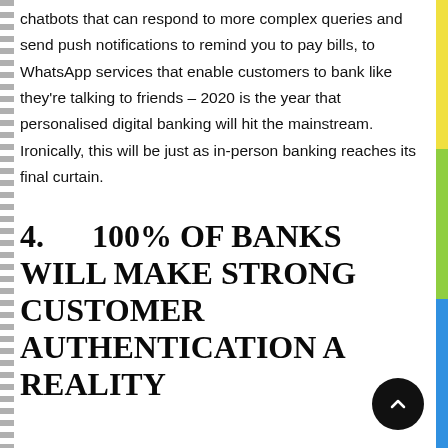chatbots that can respond to more complex queries and send push notifications to remind you to pay bills, to WhatsApp services that enable customers to bank like they're talking to friends – 2020 is the year that personalised digital banking will hit the mainstream. Ironically, this will be just as in-person banking reaches its final curtain.
4.      100% OF BANKS WILL MAKE STRONG CUSTOMER AUTHENTICATION A REALITY